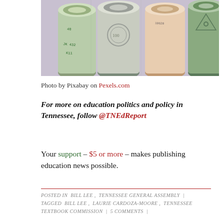[Figure (photo): Rolled-up US dollar bills of various denominations photographed from above on a light purple/gray background, showing serial numbers and bill details.]
Photo by Pixabay on Pexels.com
For more on education politics and policy in Tennessee, follow @TNEdReport
Your support – $5 or more – makes publishing education news possible.
POSTED IN  BILL LEE ,  TENNESSEE GENERAL ASSEMBLY  |  TAGGED  BILL LEE ,  LAURIE CARDOZA-MOORE ,  TENNESSEE TEXTBOOK COMMISSION  |  5 COMMENTS  |